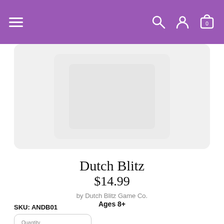Navigation header with hamburger menu and icons for search, account, and cart (0)
[Figure (photo): Product image area showing a faded/light product photo on a light gray rounded rectangle background]
Dutch Blitz
$14.99
by Dutch Blitz Game Co.
Ages 8+
SKU: ANDB01
Quantity 1